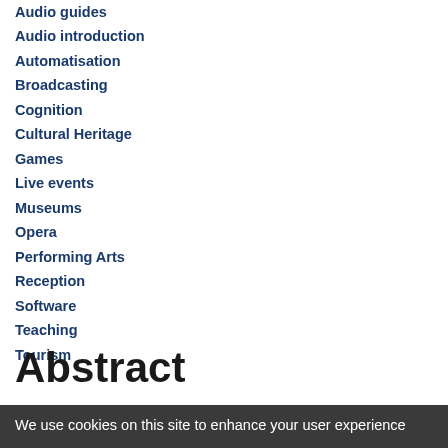Audio guides
Audio introduction
Automatisation
Broadcasting
Cognition
Cultural Heritage
Games
Live events
Museums
Opera
Performing Arts
Reception
Software
Teaching
Tourism
Abstract
This is the partial text visible at the bottom of the page...
We use cookies on this site to enhance your user experience